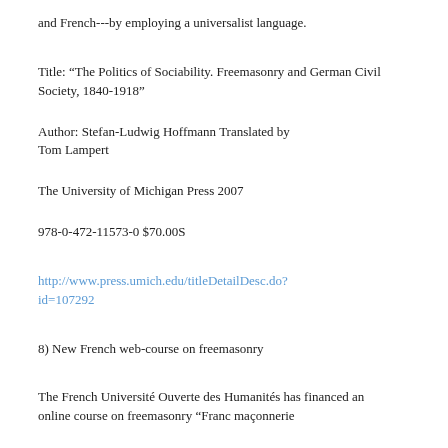and French---by employing a universalist language.
Title: “The Politics of Sociability. Freemasonry and German Civil Society, 1840-1918”
Author: Stefan-Ludwig Hoffmann Translated by Tom Lampert
The University of Michigan Press 2007
978-0-472-11573-0 $70.00S
http://www.press.umich.edu/titleDetailDesc.do?id=107292
8) New French web-course on freemasonry
The French Université Ouverte des Humanités has financed an online course on freemasonry “Franc maçonnerie